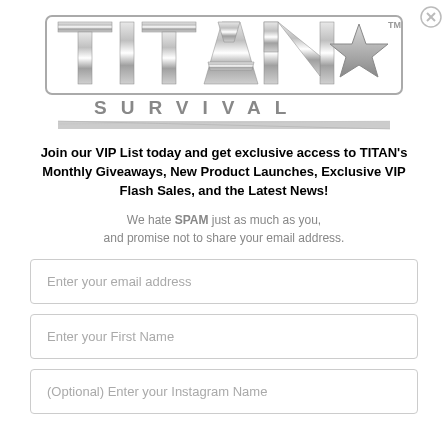[Figure (logo): Titan Survival logo — metallic silver block letters spelling TITAN with a star, and SURVIVAL in spaced capitals below, with a hatched decorative bar]
Join our VIP List today and get exclusive access to TITAN's Monthly Giveaways, New Product Launches, Exclusive VIP Flash Sales, and the Latest News!
We hate SPAM just as much as you, and promise not to share your email address.
Enter your email address
Enter your First Name
(Optional) Enter your Instagram Name